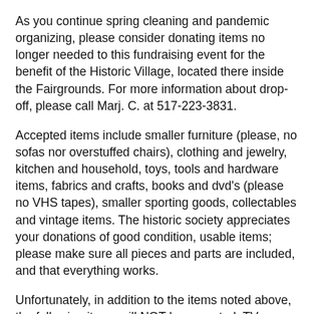As you continue spring cleaning and pandemic organizing, please consider donating items no longer needed to this fundraising event for the benefit of the Historic Village, located there inside the Fairgrounds. For more information about drop-off, please call Marj. C. at 517-223-3831.
Accepted items include smaller furniture (please, no sofas nor overstuffed chairs), clothing and jewelry, kitchen and household, toys, tools and hardware items, fabrics and crafts, books and dvd's (please no VHS tapes), smaller sporting goods, collectables and vintage items. The historic society appreciates your donations of good condition, usable items; please make sure all pieces and parts are included, and that everything works.
Unfortunately, in addition to the items noted above, the following items will NOT be accepted: TV cabinets/consoles and monitors, large exercise and